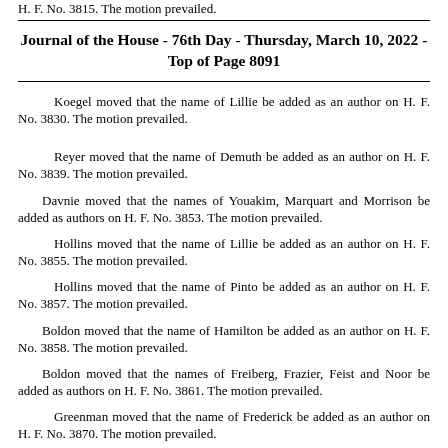H. F. No. 3815.  The motion prevailed.
Journal of the House - 76th Day - Thursday, March 10, 2022 - Top of Page 8091
Koegel moved that the name of Lillie be added as an author on H. F. No. 3830.  The motion prevailed.
Reyer moved that the name of Demuth be added as an author on H. F. No. 3839.  The motion prevailed.
Davnie moved that the names of Youakim, Marquart and Morrison be added as authors on H. F. No. 3853.  The motion prevailed.
Hollins moved that the name of Lillie be added as an author on H. F. No. 3855.  The motion prevailed.
Hollins moved that the name of Pinto be added as an author on H. F. No. 3857.  The motion prevailed.
Boldon moved that the name of Hamilton be added as an author on H. F. No. 3858.  The motion prevailed.
Boldon moved that the names of Freiberg, Frazier, Feist and Noor be added as authors on H. F. No. 3861.  The motion prevailed.
Greenman moved that the name of Frederick be added as an author on H. F. No. 3870.  The motion prevailed.